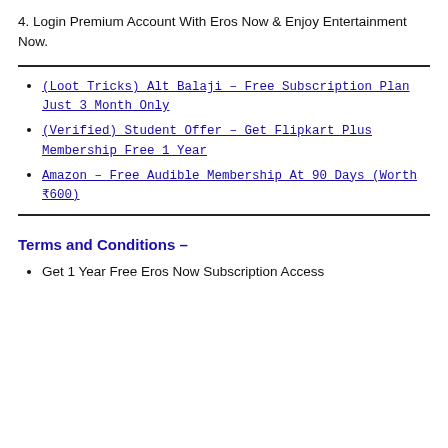4. Login Premium Account With Eros Now & Enjoy Entertainment Now.
(Loot Tricks) Alt Balaji – Free Subscription Plan Just 3 Month Only
(Verified) Student Offer – Get Flipkart Plus Membership Free 1 Year
Amazon – Free Audible Membership At 90 Days (Worth ₹600)
Terms and Conditions –
Get 1 Year Free Eros Now Subscription Access